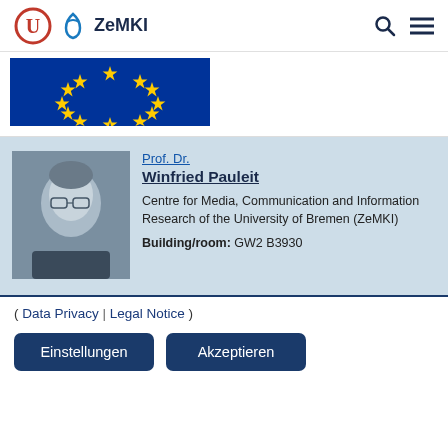ZeMKI
[Figure (photo): European Union flag — blue background with yellow stars arranged in a circle]
[Figure (photo): Black and white headshot photo of Prof. Dr. Winfried Pauleit, a middle-aged man with glasses]
Prof. Dr.
Winfried Pauleit
Centre for Media, Communication and Information Research of the University of Bremen (ZeMKI)
Building/room: GW2 B3930
( Data Privacy | Legal Notice )
Einstellungen   Akzeptieren